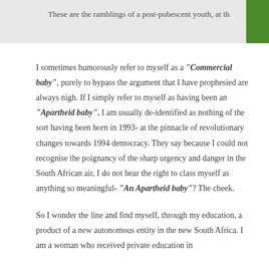These are the ramblings of a post-pubescent youth, at th
I sometimes humorously refer to myself as a “Commercial baby”, purely to bypass the argument that I have prophesied are always nigh. If I simply refer to myself as having been an “Apartheid baby”, I am usually de-identified as nothing of the sort having been born in 1993- at the pinnacle of revolutionary changes towards 1994 democracy. They say because I could not recognise the poignancy of the sharp urgency and danger in the South African air, I do not bear the right to class myself as anything so meaningful- “An Apartheid baby”? The cheek.
So I wonder the line and find myself, through my education, a product of a new autonomous entity in the new South Africa. I am a woman who received private education in